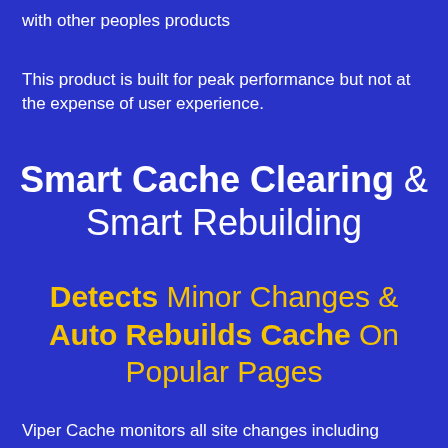with other peoples products
This product is built for peak performance but not at the expense of user experience.
Smart Cache Clearing & Smart Rebuilding
Detects Minor Changes & Auto Rebuilds Cache On Popular Pages
Viper Cache monitors all site changes including